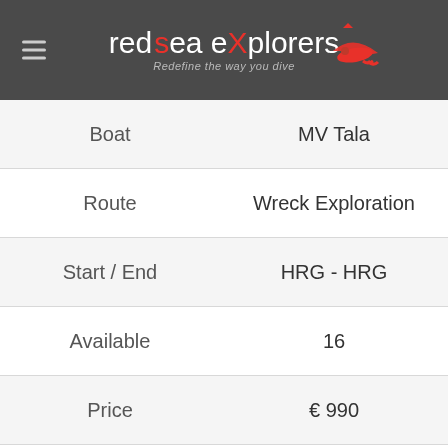red sea eXplorers — Redefine the way you dive
|  |  |
| --- | --- |
| Boat | MV Tala |
| Route | Wreck Exploration |
| Start / End | HRG - HRG |
| Available | 16 |
| Price | € 990 |
| Status | Confirmed |
|  | Book Now |
14 set - 18 set
|  |  |
| --- | --- |
| Boat | MV Nouran |
| Route | North... |